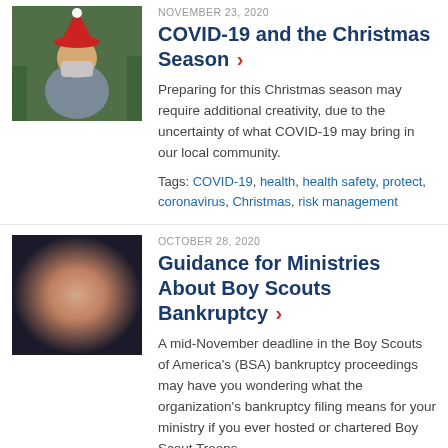[Figure (photo): Person wearing a Santa hat and face mask, arms crossed, standing outdoors with greenery in background]
NOVEMBER 23, 2020
COVID-19 and the Christmas Season ›
Preparing for this Christmas season may require additional creativity, due to the uncertainty of what COVID-19 may bring in our local community.
Tags: COVID-19, health, health safety, protect, coronavirus, Christmas, risk management
[Figure (photo): Hands of multiple people stacked together in a team gesture, viewed from above]
OCTOBER 28, 2020
Guidance for Ministries About Boy Scouts Bankruptcy ›
A mid-November deadline in the Boy Scouts of America's (BSA) bankruptcy proceedings may have you wondering what the organization's bankruptcy filing means for your ministry if you ever hosted or chartered Boy Scout Troops.
Tags: coverage, protect, liability, damages, youth